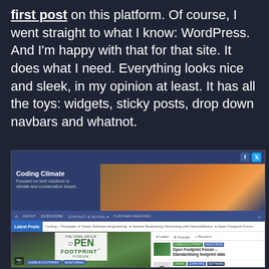first post on this platform. Of course, I went straight to what I know: WordPress. And I'm happy with that for that site. It does what I need. Everything looks nice and sleek, in my opinion at least. It has all the toys: widgets, sticky posts, drop down navbars and whatnot.
[Figure (screenshot): Screenshot of the Coding Climate WordPress website showing the homepage with a header image of a giraffe and wind turbines at sunset, navigation bar with About, Subscribe, Contact & Social, Further Reading links, a Latest Posts ticker bar, and a main content area featuring the Open Footprint Forum article with badge logo, alongside a sidebar with Latest/Popular/Random tabs showing article thumbnails for Open Footprint Forum, Call for Code – Climate Change Solutions, and Powering climate action.]